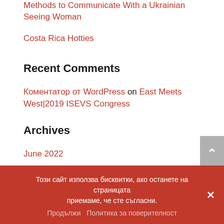Methods to Communicate With a Ukrainian Seeing Woman
Costa Rica Hotties
Recent Comments
Коментатор от WordPress on East Meets West|2019 ISEVS Congress
Archives
June 2022
May 2022
April 2022
Този сайт използва бисквитки, ако останете на страницата приемаме, че сте съгласни.
Продължи   Политика за поверителност